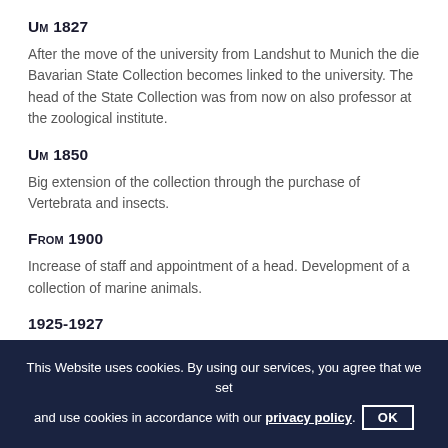Um 1827
After the move of the university from Landshut to Munich the die Bavarian State Collection becomes linked to the university. The head of the State Collection was from now on also professor at the zoological institute.
Um 1850
Big extension of the collection through the purchase of Vertebrata and insects.
From 1900
Increase of staff and appointment of a head. Development of a collection of marine animals.
1925-1927
Spatial and organisational separation of State Collection and university.
1944
The Wilhelminum is destroyed during a bombing raid. Most parts of the
This Website uses cookies. By using our services, you agree that we set and use cookies in accordance with our privacy policy. OK